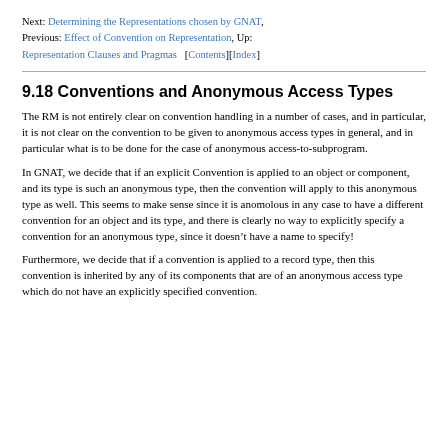Next: Determining the Representations chosen by GNAT, Previous: Effect of Convention on Representation, Up: Representation Clauses and Pragmas [Contents][Index]
9.18 Conventions and Anonymous Access Types
The RM is not entirely clear on convention handling in a number of cases, and in particular, it is not clear on the convention to be given to anonymous access types in general, and in particular what is to be done for the case of anonymous access-to-subprogram.
In GNAT, we decide that if an explicit Convention is applied to an object or component, and its type is such an anonymous type, then the convention will apply to this anonymous type as well. This seems to make sense since it is anomolous in any case to have a different convention for an object and its type, and there is clearly no way to explicitly specify a convention for an anonymous type, since it doesn’t have a name to specify!
Furthermore, we decide that if a convention is applied to a record type, then this convention is inherited by any of its components that are of an anonymous access type which do not have an explicitly specified convention.